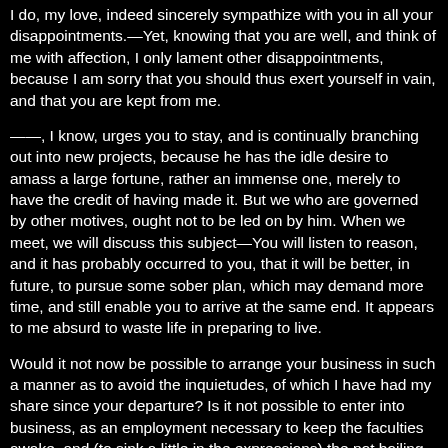I do, my love, indeed sincerely sympathize with you in all your disappointments.—Yet, knowing that you are well, and think of me with affection, I only lament other disappointments, because I am sorry that you should thus exert yourself in vain, and that you are kept from me.
——, I know, urges you to stay, and is continually branching out into new projects, because he has the idle desire to amass a large fortune, rather an immense one, merely to have the credit of having made it. But we who are governed by other motives, ought not to be led on by him. When we meet, we will discuss this subject—You will listen to reason, and it has probably occurred to you, that it will be better, in future, to pursue some sober plan, which may demand more time, and still enable you to arrive at the same end. It appears to me absurd to waste life in preparing to live.
Would it not now be possible to arrange your business in such a manner as to avoid the inquietudes, of which I have had my share since your departure? Is it not possible to enter into business, as an employment necessary to keep the faculties awake, and (to sink a little in the expressions) the pot boiling, without suffering what must ever be considered as a secondary object, to engross the mind, and drive sentiment and affection out of the heart?